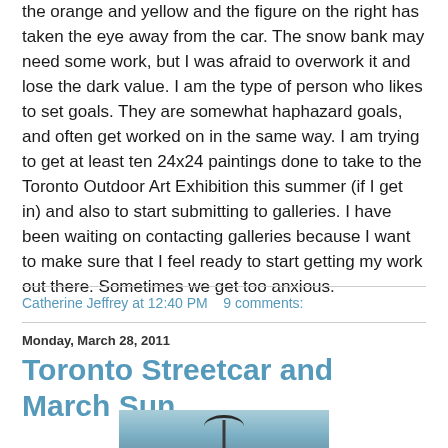the orange and yellow and the figure on the right has taken the eye away from the car. The snow bank may need some work, but I was afraid to overwork it and lose the dark value. I am the type of person who likes to set goals. They are somewhat haphazard goals, and often get worked on in the same way. I am trying to get at least ten 24x24 paintings done to take to the Toronto Outdoor Art Exhibition this summer (if I get in) and also to start submitting to galleries. I have been waiting on contacting galleries because I want to make sure that I feel ready to start getting my work out there. Sometimes we get too anxious.
Catherine Jeffrey at 12:40 PM    9 comments:
Monday, March 28, 2011
Toronto Streetcar and March Sun
[Figure (photo): Partial photo of Toronto streetcar under a light pole against a blue sky, cut off at the bottom of the page]